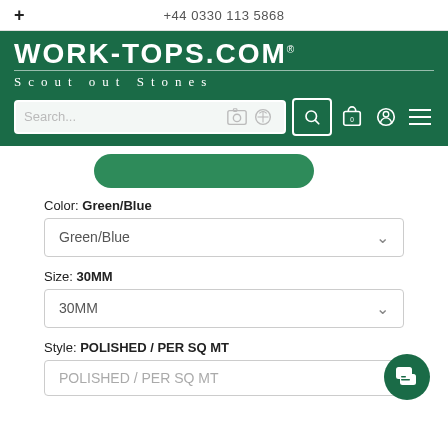+ | +44 0330 113 5868
[Figure (logo): WORK-TOPS.COM logo with tagline 'Scout out Stones' on dark green background with search bar]
Color: Green/Blue
Green/Blue (dropdown)
Size: 30MM
30MM (dropdown)
Style: POLISHED / PER SQ MT
POLISHED / PER SQ MT (dropdown)